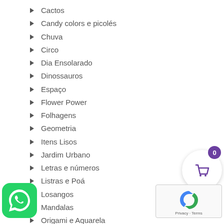Cactos
Candy colors e picolés
Chuva
Circo
Dia Ensolarado
Dinossauros
Espaço
Flower Power
Folhagens
Geometria
Itens Lisos
Jardim Urbano
Letras e números
Listras e Poá
Losangos
Mandalas
Origami e Aquarela
[Figure (other): Purple shopping cart button with badge showing 0]
[Figure (other): WhatsApp green icon button]
[Figure (other): reCAPTCHA widget with Privacy and Terms links]